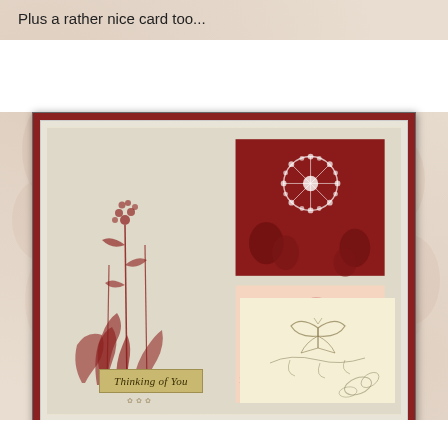Plus a rather nice card too...
[Figure (photo): A handmade greeting card with a cream/parchment background featuring three decorative panels on the right side: top panel shows dark red and white floral/dandelion pattern, middle panel shows peachy-pink floral outline pattern, bottom panel shows cream with butterfly and vine motif. Left side has dark red botanical stamp art (wildflowers/plants). A 'Thinking of You' label in gold appears at the bottom center of the card. The card is mounted on a dark red mat board.]